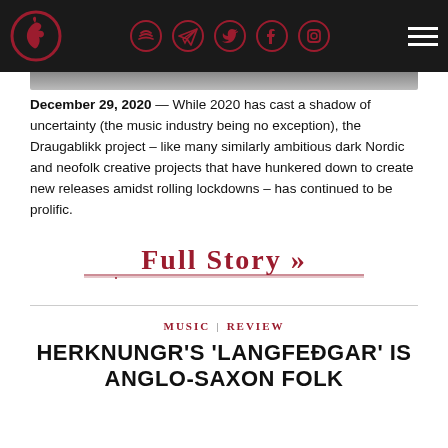Navigation bar with logo and social media icons
[Figure (photo): Partial image strip at top of article]
December 29, 2020 — While 2020 has cast a shadow of uncertainty (the music industry being no exception), the Draugablikk project – like many similarly ambitious dark Nordic and neofolk creative projects that have hunkered down to create new releases amidst rolling lockdowns – has continued to be prolific.
FULL STORY »
MUSIC | REVIEW
HERKNUNGR'S 'LANGFEÐGAR' IS ANGLO-SAXON FOLK